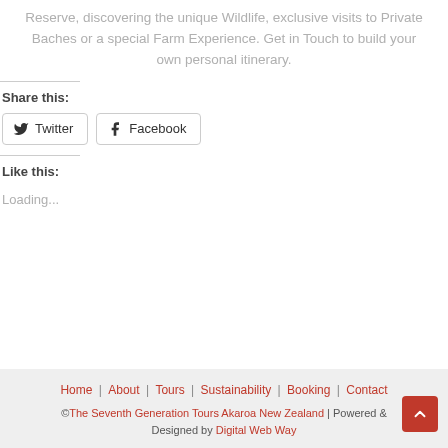Reserve, discovering the unique Wildlife, exclusive visits to Private Baches or a special Farm Experience. Get in Touch to build your own personal itinerary.
Share this:
Twitter  Facebook
Like this:
Loading...
Home | About | Tours | Sustainability | Booking | Contact  ©The Seventh Generation Tours Akaroa New Zealand | Powered & Designed by Digital Web Way